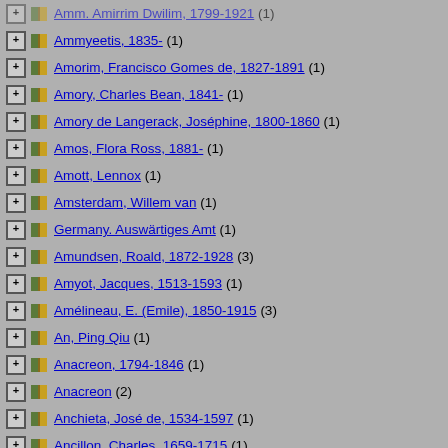Ammyeetis, 1835- (1)
Amorim, Francisco Gomes de, 1827-1891 (1)
Amory, Charles Bean, 1841- (1)
Amory de Langerack, Joséphine, 1800-1860 (1)
Amos, Flora Ross, 1881- (1)
Amott, Lennox (1)
Amsterdam, Willem van (1)
Germany. Auswärtiges Amt (1)
Amundsen, Roald, 1872-1928 (3)
Amyot, Jacques, 1513-1593 (1)
Amélineau, E. (Emile), 1850-1915 (3)
An, Ping Qiu (1)
Anacreon, 1794-1846 (1)
Anacreon (2)
Anchieta, José de, 1534-1597 (1)
Ancillon, Charles, 1659-1715 (1)
Ancliffe, Charles William, 1880-1952 (1)